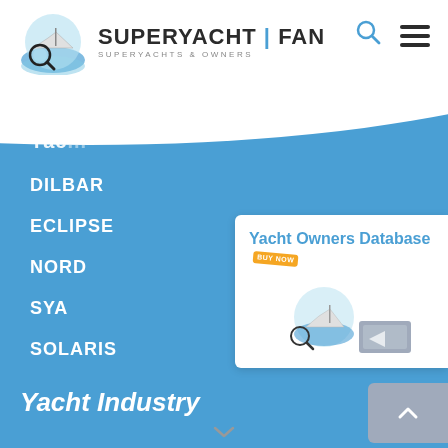[Figure (logo): SuperYacht Fan logo with magnifying glass over yacht waves icon, text SUPERYACHT FAN, subtitle SUPERYACHTS & OWNERS]
Yac...
DILBAR
ECLIPSE
NORD
SYA
SOLARIS
[Figure (screenshot): Yacht Owners Database promotional card with BUY NOW badge and logo]
EN
Yacht Industry